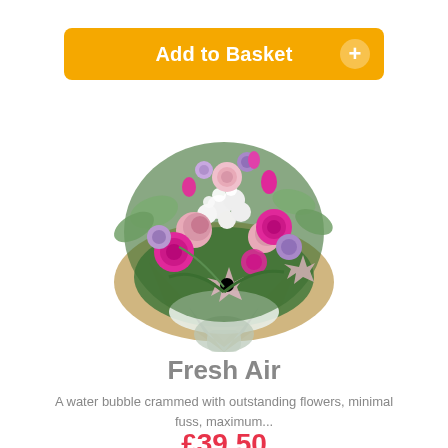[Figure (other): Yellow 'Add to Basket' button with white text and a white circle plus icon on the right]
[Figure (photo): A floral bouquet called 'Fresh Air' featuring pink roses, magenta carnations, white flowers, purple blooms, and greenery wrapped in brown paper and white tissue]
Fresh Air
A water bubble crammed with outstanding flowers, minimal fuss, maximum...
£39.50